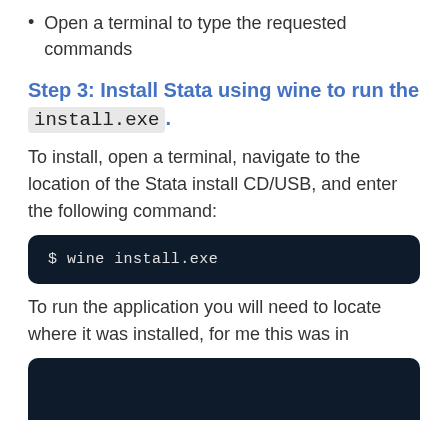Open a terminal to type the requested commands
Step 3: Install Stata using wine to run the install.exe.
To install, open a terminal, navigate to the location of the Stata install CD/USB, and enter the following command:
$ wine install.exe
To run the application you will need to locate where it was installed, for me this was in